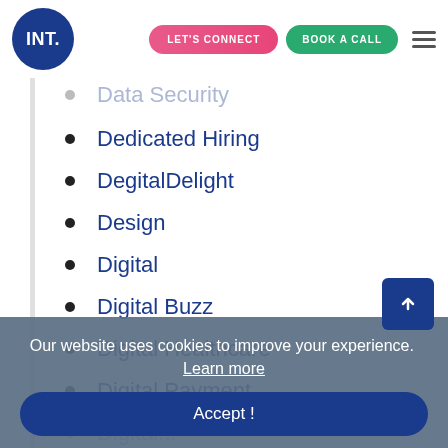INT. | LET'S CONNECT | BOOK A CALL
Data Security
Dedicated Hiring
DegitalDelight
Design
Digital
Digital Buzz
Digital Healthcare
Digital Payment
Digital...
Our website uses cookies to improve your experience.  Learn more
Accept !